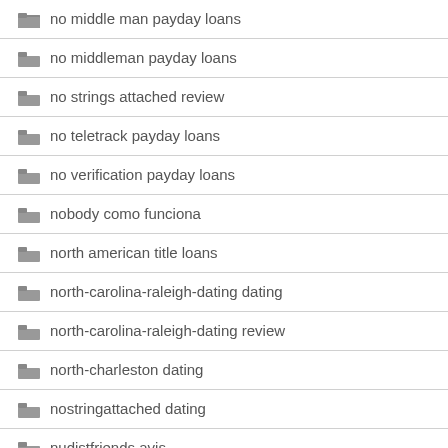no middle man payday loans
no middleman payday loans
no strings attached review
no teletrack payday loans
no verification payday loans
nobody como funciona
north american title loans
north-carolina-raleigh-dating dating
north-carolina-raleigh-dating review
north-charleston dating
nostringattached dating
nudistfriends avis